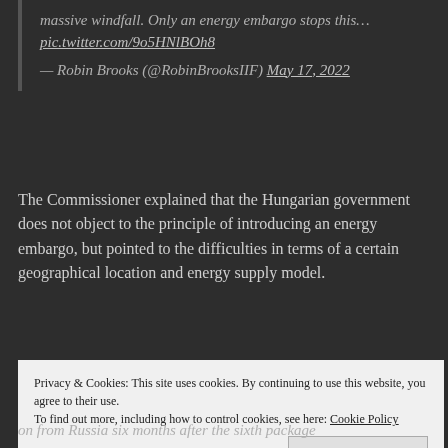massive windfall. Only an energy embargo stops this… pic.twitter.com/9o5HNlBOh8
— Robin Brooks (@RobinBrooksIIF) May 17, 2022
The Commissioner explained that the Hungarian government does not object to the principle of introducing an energy embargo, but pointed to the difficulties in terms of a certain geographical location and energy supply model.
Privacy & Cookies: This site uses cookies. By continuing to use this website, you agree to their use. To find out more, including how to control cookies, see here: Cookie Policy
on from Russia six months after the sixth package